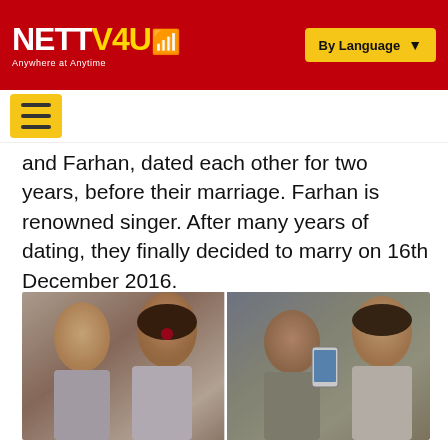NETTV4U — Anywhere at Anytime | By Language
and Farhan, dated each other for two years, before their marriage. Farhan is renowned singer. After many years of dating, they finally decided to marry on 16th December 2016.
[Figure (photo): Two-panel photo collage: left panel shows a man and a woman in bridal attire posing together at what appears to be a wedding event; right panel shows a couple taking a selfie with a phone.]